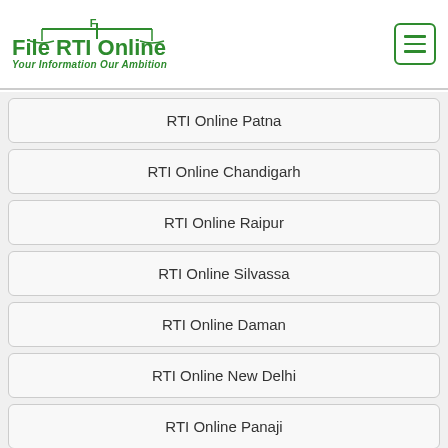File RTI Online — Your Information Our Ambition
RTI Online Patna
RTI Online Chandigarh
RTI Online Raipur
RTI Online Silvassa
RTI Online Daman
RTI Online New Delhi
RTI Online Panaji
RTI Online Gandhinagar